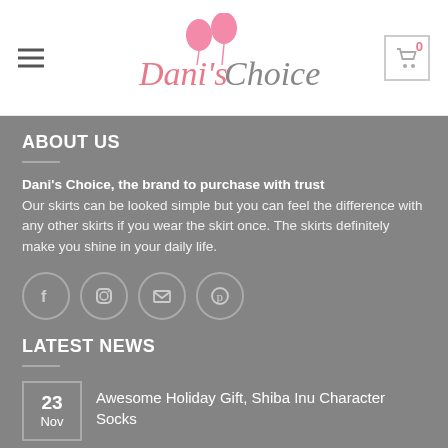Dani's Choice
ABOUT US
Dani's Choice, the brand to purchase with trust
Our skirts can be looked simple but you can feel the difference with any other skirts if you wear the skirt once. The skirts definitely make you shine in your daily life.
[Figure (infographic): Social media icons: Facebook, Instagram, Email, Pinterest]
LATEST NEWS
23 Nov — Awesome Holiday Gift, Shiba Inu Character Socks